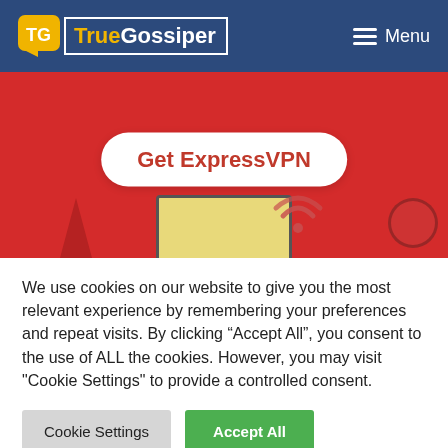TrueGossiper — Menu
[Figure (screenshot): Red banner advertisement for ExpressVPN with a rounded white button labeled 'Get ExpressVPN', laptop, wifi icon, and decorative shapes on red background]
We use cookies on our website to give you the most relevant experience by remembering your preferences and repeat visits. By clicking “Accept All”, you consent to the use of ALL the cookies. However, you may visit "Cookie Settings" to provide a controlled consent.
Cookie Settings | Accept All